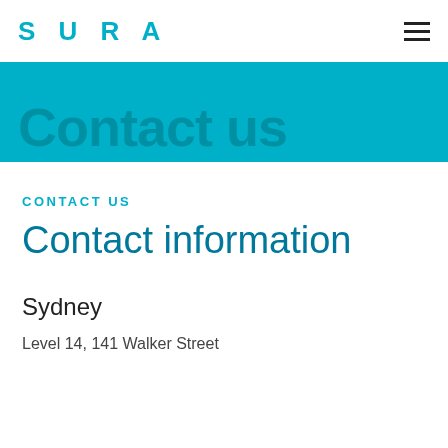SURA
Contact us
CONTACT US
Contact information
Sydney
Level 14, 141 Walker Street